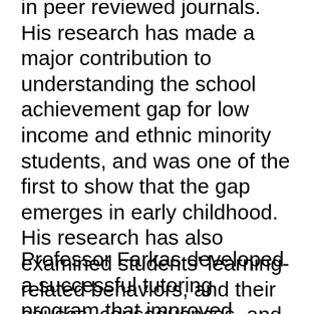in peer reviewed journals. His research has made a major contribution to understanding the school achievement gap for low income and ethnic minority students, and was one of the first to show that the gap emerges in early childhood. His research has also examined students' learning-related behaviors, and their causes, consequences, and relationship to the achievement gap. His research has been supported by the National Science Foundation, the National Institutes of Health, the US Department of Education, the Spencer Foundation and other foundations and agencies.
Professor Farkas developed a successful tutoring program that improved reading skills of low-income, minority, and limited English